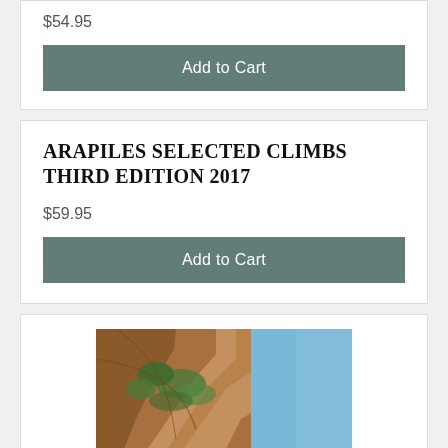$54.95
Add to Cart
ARAPILES SELECTED CLIMBS THIRD EDITION 2017
$59.95
Add to Cart
[Figure (photo): Rock climber scaling an overhanging cliff face with blue sky in the background]